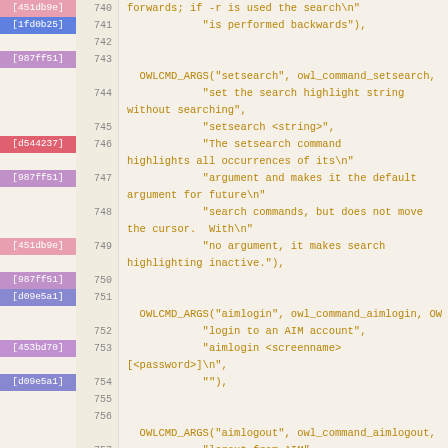[Figure (screenshot): Source code viewer showing lines 740-763 of a C source file with blame annotations on the left side. Each line has a commit hash badge in a colored box, a line number, and code in monospace orange/gold text on a beige background. The code shows OWLCMD_ARGS macro calls for setsearch, aimlogin, aimlogout, and error commands.]